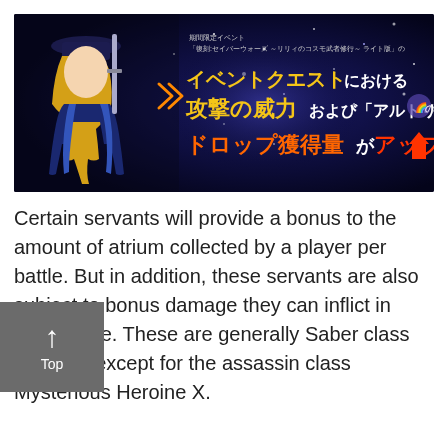[Figure (illustration): Game banner image with dark blue starry background. An anime-style character (blonde female in dark blue outfit with hat and sword) on the left side. Japanese text on the right describing limited-time event quest attack power and altrium drop rate up bonuses.]
Certain servants will provide a bonus to the amount of atrium collected by a player per battle. But in addition, these servants are also subject to bonus damage they can inflict in each battle. These are generally Saber class servants except for the assassin class Mysterious Heroine X.
[Figure (illustration): Gray button with upward arrow icon and the word 'Top' below it, used as a back-to-top navigation element.]